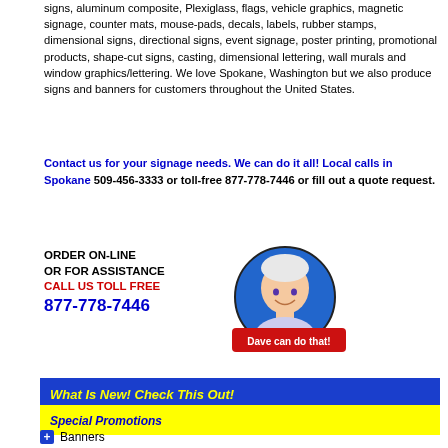signs, aluminum composite, Plexiglass, flags, vehicle graphics, magnetic signage, counter mats, mouse-pads, decals, labels, rubber stamps, dimensional signs, directional signs, event signage, poster printing, promotional products, shape-cut signs, casting, dimensional lettering, wall murals and window graphics/lettering. We love Spokane, Washington but we also produce signs and banners for customers throughout the United States.
Contact us for your signage needs. We can do it all! Local calls in Spokane 509-456-3333 or toll-free 877-778-7446 or fill out a quote request.
ORDER ON-LINE OR FOR ASSISTANCE CALL US TOLL FREE 877-778-7446
[Figure (illustration): Circular portrait photo of a smiling older man with white hair on a blue background, with a red banner below reading 'Dave can do that!']
What Is New! Check This Out!
Special Promotions
Banners